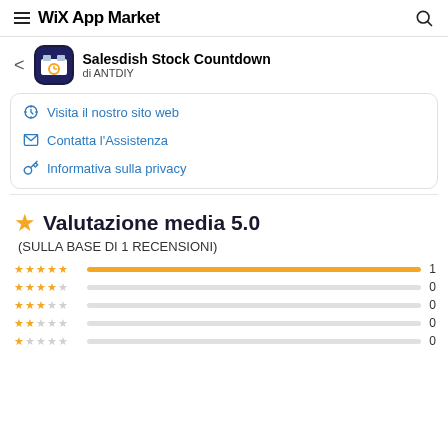WiX App Market
Salesdish Stock Countdown di ANTDIY
Visita il nostro sito web
Contatta l'Assistenza
Informativa sulla privacy
Valutazione media 5.0
(SULLA BASE DI 1 RECENSIONI)
[Figure (bar-chart): Rating distribution]